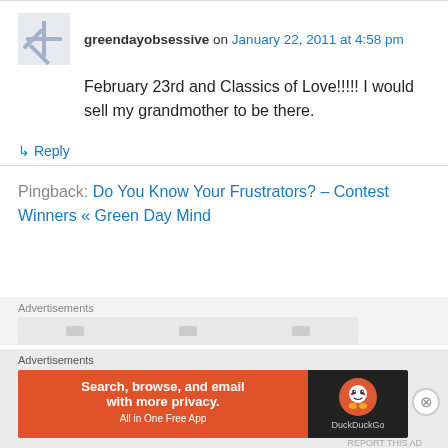greendayobsessive on January 22, 2011 at 4:58 pm
February 23rd and Classics of Love!!!!! I would sell my grandmother to be there.
↳ Reply
Pingback: Do You Know Your Frustrators? – Contest Winners « Green Day Mind
Advertisements
Advertisements
[Figure (screenshot): DuckDuckGo advertisement banner: 'Search, browse, and email with more privacy. All in One Free App' with DuckDuckGo logo on dark background]